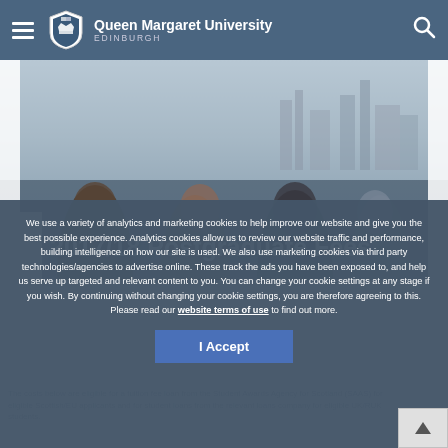Queen Margaret University EDINBURGH
[Figure (photo): Hero image of students with Edinburgh skyline in background, overlaid with title '2017/18 Postgraduate Fees']
2017/18 Postgraduate Fees
We use a variety of analytics and marketing cookies to help improve our website and give you the best possible experience. Analytics cookies allow us to review our website traffic and performance, building intelligence on how our site is used. We also use marketing cookies via third party technologies/agencies to advertise online. These track the ads you have been exposed to, and help us serve up targeted and relevant content to you. You can change your cookie settings at any stage if you wish. By continuing without changing your cookie settings, you are therefore agreeing to this. Please read our website terms of use to find out more.
I Accept